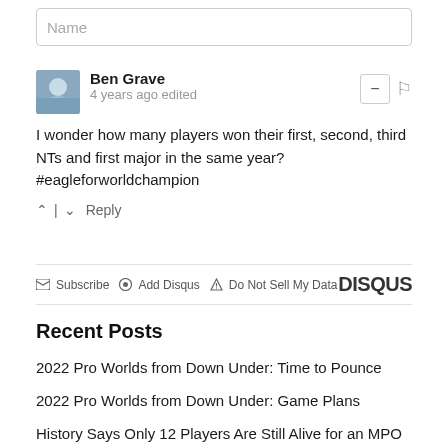Name
Ben Grave
4 years ago edited
I wonder how many players won their first, second, third NTs and first major in the same year? #eagleforworldchampion
Subscribe  Add Disqus  Do Not Sell My Data  DISQUS
Recent Posts
2022 Pro Worlds from Down Under: Time to Pounce
2022 Pro Worlds from Down Under: Game Plans
History Says Only 12 Players Are Still Alive for an MPO World Championship